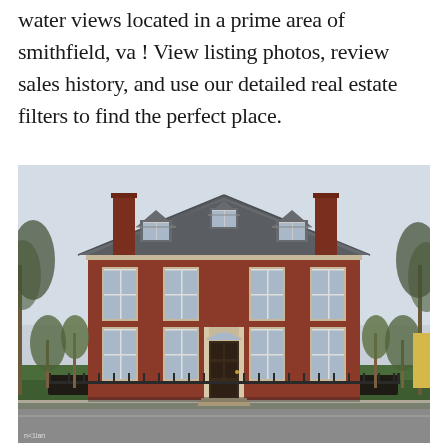water views located in a prime area of smithfield, va ! View listing photos, review sales history, and use our detailed real estate filters to find the perfect place.
[Figure (photo): Exterior front view of a large two-story colonial Georgian red brick house with slate grey mansard/hip roof, three dormer windows, two tall brick chimneys, six-over-six white-trimmed sash windows on two floors, arched fanlight over the front door, black iron fence, landscaped front yard with small trees, photographed during early spring.]